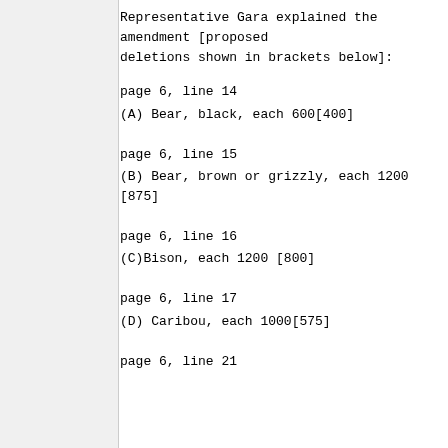Representative Gara explained the amendment [proposed deletions shown in brackets below]:
page 6, line 14
(A) Bear, black, each 600[400]
page 6, line 15
(B) Bear, brown or grizzly, each 1200
[875]
page 6, line 16
(C)Bison, each 1200 [800]
page 6, line 17
(D) Caribou, each 1000[575]
page 6, line 21